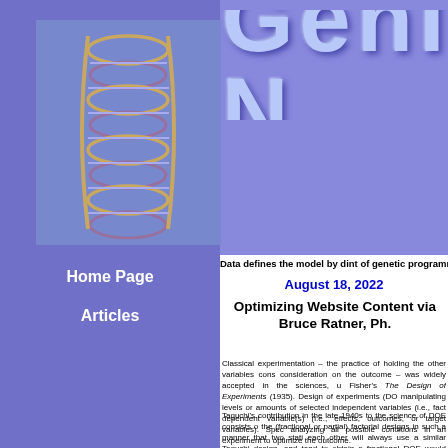[Figure (illustration): DNA double helix illustration on blue-purple background in left sidebar]
GenIQ N
Data defines the model by dint of genetic programmi
August 18, 2022
Optimizing Website Content via
Bruce Ratner, Ph.
Home Page
Articles
Classical experimentation – the practice of holding the other variables cons consideration on the outcome – was widely accepted in the sciences, u Fisher's The Design of Experiments (1935). Design of experiments (DO manipulating levels or amounts of selected independent variables (i.e., fact dependent variable(s) (i.e., effects, outcomes, or target variables). Spec analyzing all possible conditions in an experiment to optimize the outcome.
Taguchi's contribution in the late 1940s to the science of DOE consists o the (fractional or partial) factorial designs in such a manner that two stati each other will always use a similar Taguchi design, and tend to obtain s fractional DOE would suffer from: 1) Experiments with a large number of designs from the same experiment may yield different results and interpr standardized design methodology that can easily be applied; designs for th